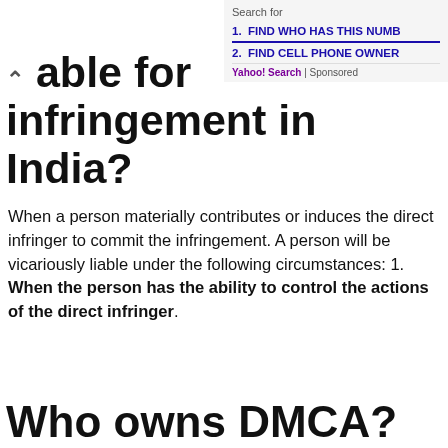Search for
1. FIND WHO HAS THIS NUMB
2. FIND CELL PHONE OWNER
Yahoo! Search | Sponsored
able for infringement in India?
When a person materially contributes or induces the direct infringer to commit the infringement. A person will be vicariously liable under the following circumstances: 1. When the person has the ability to control the actions of the direct infringer.
Who owns DMCA?